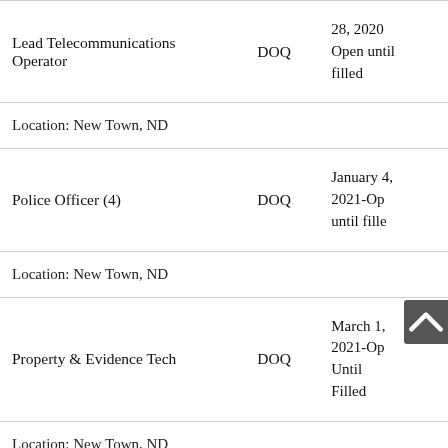| Position | Pay | Date |
| --- | --- | --- |
| Lead Telecommunications Operator | DOQ | 28, 2020 Open until filled |
| Location: New Town, ND |  |  |
| Police Officer (4) | DOQ | January 4, 2021-Open until filled |
| Location: New Town, ND |  |  |
| Property & Evidence Tech | DOQ | March 1, 2021-Open Until Filled |
| Location: New Town, ND |  |  |